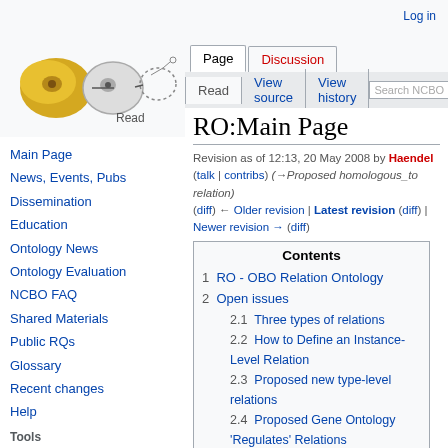Log in
[Figure (logo): NCBO BioPortal logo with stylized cell illustrations]
Page | Discussion | Read | View source | View history | Search NCBO
RO:Main Page
Revision as of 12:13, 20 May 2008 by Haendel (talk | contribs) (→Proposed homologous_to relation)
(diff) ← Older revision | Latest revision (diff) | Newer revision → (diff)
Main Page
News, Events, Pubs
Dissemination
Education
Ontology News
Ontology Evaluation
NCBO FAQ
Shared Materials
Public RQs
Glossary
Recent changes
Help
Tools
| Contents |
| --- |
| 1  RO - OBO Relation Ontology |
| 2  Open issues |
| 2.1  Three types of relations |
| 2.2  How to Define an Instance-Level Relation |
| 2.3  Proposed new type-level relations |
| 2.4  Proposed Gene Ontology 'Regulates' Relations |